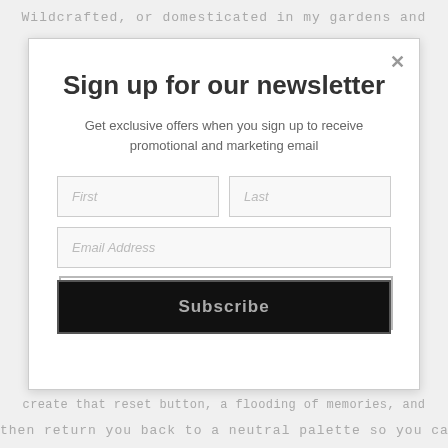Wildcrafted, or domesticated in my gardens and
[Figure (screenshot): Newsletter signup modal popup with title 'Sign up for our newsletter', subtitle text, form fields for First, Last, Email Address, and a Subscribe button]
create that reset button, a flooding of memories, and
then return you back to a neutral palette so you can